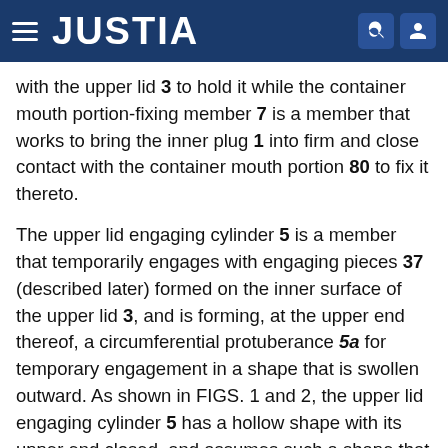JUSTIA
with the upper lid 3 to hold it while the container mouth portion-fixing member 7 is a member that works to bring the inner plug 1 into firm and close contact with the container mouth portion 80 to fix it thereto.
The upper lid engaging cylinder 5 is a member that temporarily engages with engaging pieces 37 (described later) formed on the inner surface of the upper lid 3, and is forming, at the upper end thereof, a circumferential protuberance 5a for temporary engagement in a shape that is swollen outward. As shown in FIGS. 1 and 2, the upper lid engaging cylinder 5 has a hollow shape with its upper end closed, and assumes such a shape that easily deflects inward. Therefore, the upper lid engaging cylinder 5 is capable of easily engaging with the upper lid 3 to hold it. As viewed on the side surface, furthermore, the upper lid engaging cylinder 5 as a whole is tapered